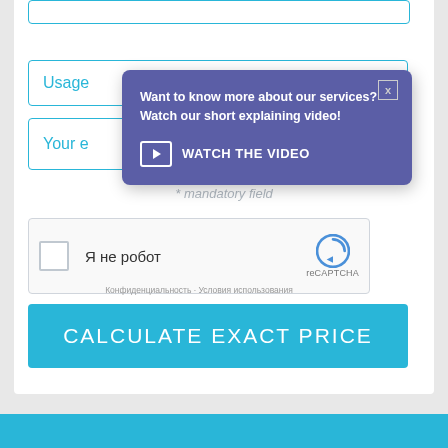[Figure (screenshot): Web form screenshot showing input fields for Usage and Your email, with a purple popup overlay saying 'Want to know more about our services? Watch our short explaining video!' and a 'WATCH THE VIDEO' button. Below the form is a reCAPTCHA widget in Russian (Я не робот) and a cyan 'CALCULATE EXACT PRICE' button. A blue bar is at the bottom.]
Usage
Your e
Want to know more about our services? Watch our short explaining video!
WATCH THE VIDEO
* mandatory field
Я не робот
reCAPTCHA
Конфиденциальность · Условия использования
CALCULATE EXACT PRICE